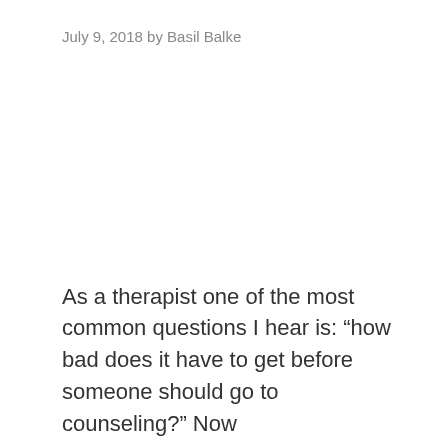July 9, 2018 by Basil Balke
As a therapist one of the most common questions I hear is: “how bad does it have to get before someone should go to counseling?” Now